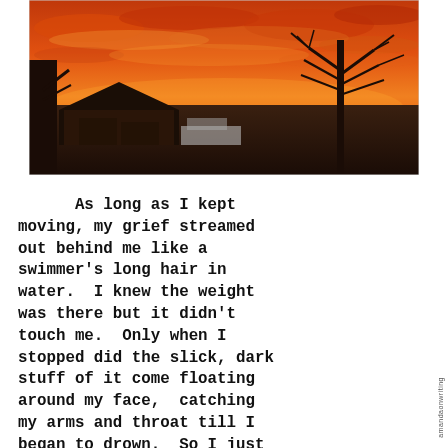[Figure (photo): A photograph of a dramatic orange and red sunset sky above suburban houses and bare winter trees. The sky is vivid with orange and gold clouds. Dark silhouettes of a house roof and a bare tree are visible against the bright sky.]
As long as I kept moving, my grief streamed out behind me like a swimmer's long hair in water.  I knew the weight was there but it didn't touch me.  Only when I stopped did the slick, dark stuff of it come floating around my face,  catching my arms and throat till I began to drown.  So I just didn't stop.
amandaonwriting